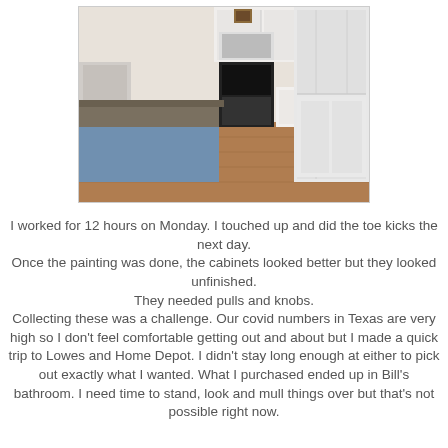[Figure (photo): Interior photo of a kitchen showing a white refrigerator on the right, white upper and lower cabinets, a stove/oven, a kitchen island or peninsula with a dark countertop and blue base, and wood-look laminate flooring.]
I worked for 12 hours on Monday. I touched up and did the toe kicks the next day.
Once the painting was done, the cabinets looked better but they looked unfinished.
They needed pulls and knobs.
Collecting these was a challenge. Our covid numbers in Texas are very high so I don't feel comfortable getting out and about but I made a quick trip to Lowes and Home Depot. I didn't stay long enough at either to pick out exactly what I wanted. What I purchased ended up in Bill's bathroom. I need time to stand, look and mull things over but that's not possible right now.